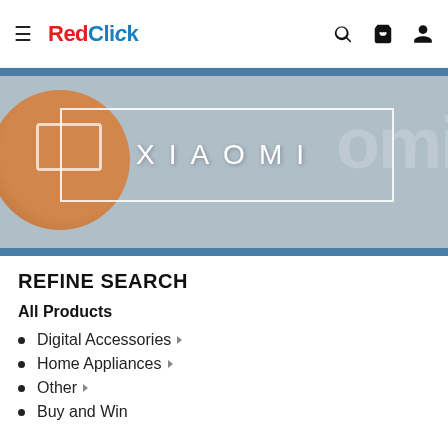RedClick — navigation header with hamburger menu, logo, search, cart, and user icons
[Figure (logo): Xiaomi brand banner with orange Xiaomi logo circle on grey-blue background and XIAOMI text in a white border rectangle]
REFINE SEARCH
All Products
Digital Accessories
Home Appliances
Other
Buy and Win